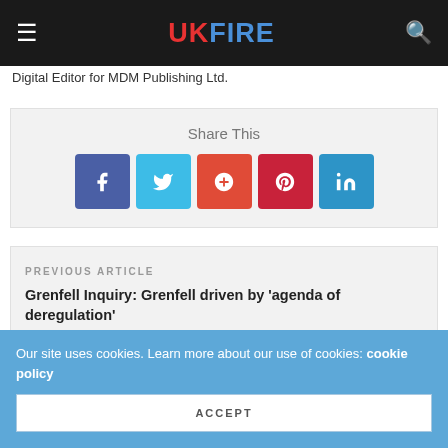UK FIRE
Digital Editor for MDM Publishing Ltd.
[Figure (infographic): Share This social media buttons: Facebook, Twitter, Google+, Pinterest, LinkedIn]
PREVIOUS ARTICLE
Grenfell Inquiry: Grenfell driven by 'agenda of deregulation'
NEXT ARTICLE
New decision-making thermal imager is the most affordable
Our site uses cookies. Learn more about our use of cookies: cookie policy
ACCEPT